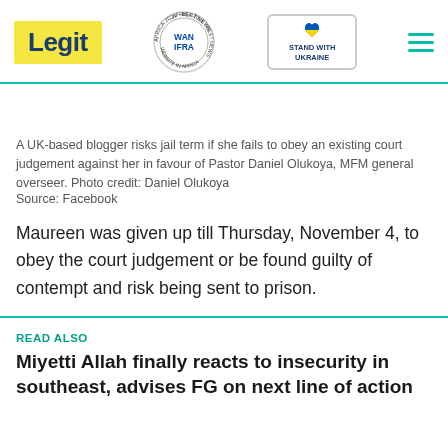Legit | WAN IFRA Best News Website in Africa 2021 | Stand with Ukraine
A UK-based blogger risks jail term if she fails to obey an existing court judgement against her in favour of Pastor Daniel Olukoya, MFM general overseer. Photo credit: Daniel Olukoya
Source: Facebook
Maureen was given up till Thursday, November 4, to obey the court judgement or be found guilty of contempt and risk being sent to prison.
READ ALSO
Miyetti Allah finally reacts to insecurity in southeast, advises FG on next line of action